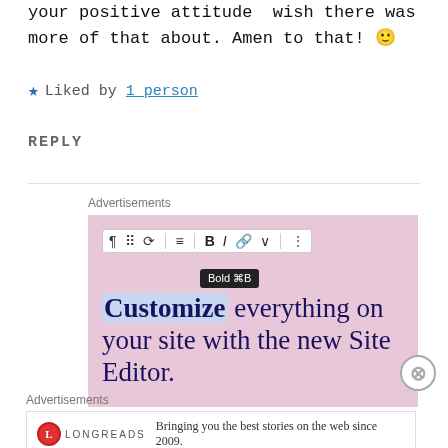your positive attitude  wish there was more of that about. Amen to that! 🙂
★ Liked by 1 person
REPLY
[Figure (screenshot): Advertisement banner with pink background showing a text editor toolbar with Bold (⌘B) tooltip, and headline text: Customize everything on your site with the new Site Editor.]
[Figure (screenshot): Advertisement banner for Longreads showing logo and text: Bringing you the best stories on the web since 2009.]